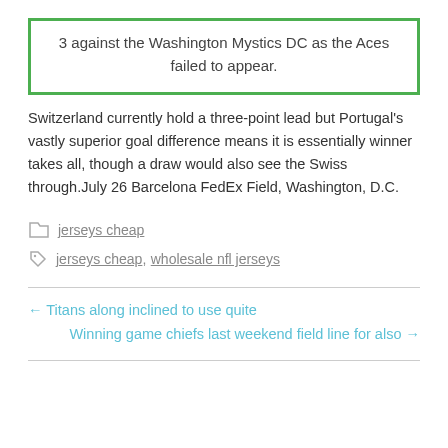3 against the Washington Mystics DC as the Aces failed to appear.
Switzerland currently hold a three-point lead but Portugal's vastly superior goal difference means it is essentially winner takes all, though a draw would also see the Swiss through.July 26 Barcelona FedEx Field, Washington, D.C.
jerseys cheap
jerseys cheap, wholesale nfl jerseys
← Titans along inclined to use quite
Winning game chiefs last weekend field line for also →